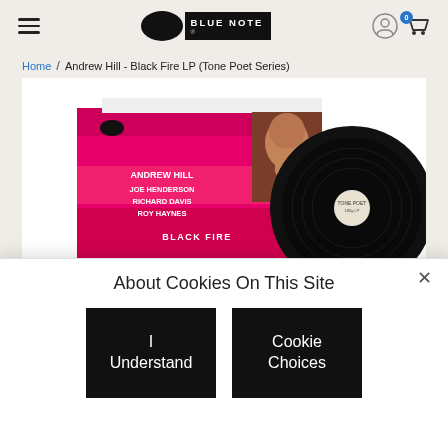Blue Note Records — navigation header with hamburger menu, logo, user icon, and cart (0 items)
Home / Andrew Hill - Black Fire LP (Tone Poet Series)
[Figure (photo): Product photo of Andrew Hill Black Fire LP (Tone Poet Series) vinyl record with pink/magenta album cover showing Andrew Hill, Joe Henderson, Richard Davis, Roy Haynes - Black Fire]
About Cookies On This Site
I Understand
Cookie Choices